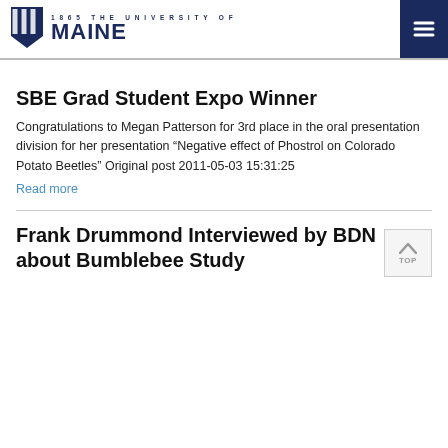1865 THE UNIVERSITY OF MAINE
SBE Grad Student Expo Winner
Congratulations to Megan Patterson for 3rd place in the oral presentation division for her presentation “Negative effect of Phostrol on Colorado Potato Beetles” Original post 2011-05-03 15:31:25
Read more
Frank Drummond Interviewed by BDN about Bumblebee Study